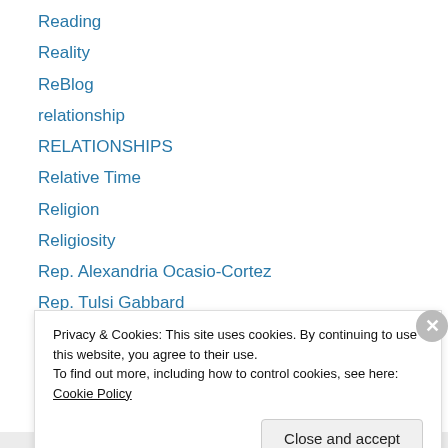Reading
Reality
ReBlog
relationship
RELATIONSHIPS
Relative Time
Religion
Religiosity
Rep. Alexandria Ocasio-Cortez
Rep. Tulsi Gabbard
Republican Debate
REPUBLICANS
Rex Tillerson
Privacy & Cookies: This site uses cookies. By continuing to use this website, you agree to their use. To find out more, including how to control cookies, see here: Cookie Policy
Close and accept